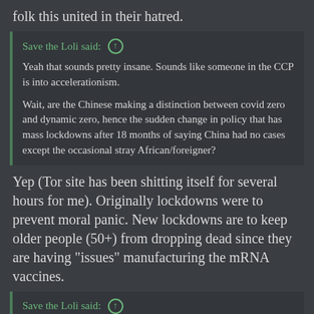folk this united in their hatred.
Save the Loli said: ↑

Yeah that sounds pretty insane. Sounds like someone in the CCP is into accelerationism.

Wait, are the Chinese making a distinction between covid zero and dynamic zero, hence the sudden change in policy that has mass lockdowns after 18 months of saying China had no cases except the occasional stray African/foreigner?
Yep (Tor site has been shitting itself for several hours for me). Originally lockdowns were to prevent moral panic. New lockdowns are to keep older people (50+) from dropping dead since they are having "issues" manufacturing the mRNA vaccines.
Save the Loli said: ↑

It means the costs get passed on to (You). Unless the rumors of diesel rationing are true, then we're really fucked.